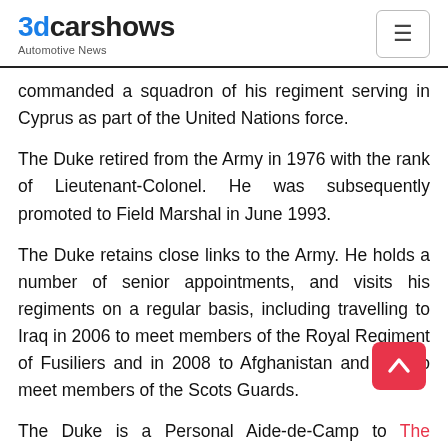3dcarshows Automotive News
commanded a squadron of his regiment serving in Cyprus as part of the United Nations force.
The Duke retired from the Army in 1976 with the rank of Lieutenant-Colonel. He was subsequently promoted to Field Marshal in June 1993.
The Duke retains close links to the Army. He holds a number of senior appointments, and visits his regiments on a regular basis, including travelling to Iraq in 2006 to meet members of the Royal Regiment of Fusiliers and in 2008 to Afghanistan and Iraq to meet members of the Scots Guards.
The Duke is a Personal Aide-de-Camp to The Queen, Colonel of the Scots Guards, Colonel-in-Chief of the